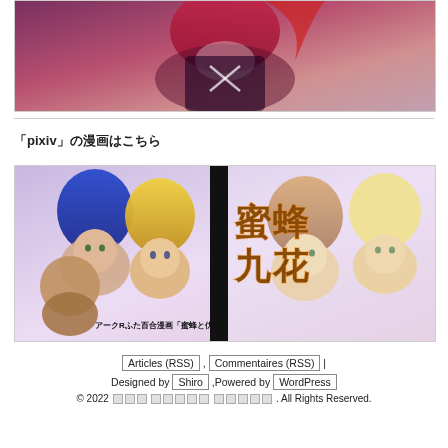[Figure (illustration): Partial view of an anime/manga style illustration showing a female character in a dark outfit, cropped at top.]
pixivの漫画はこちら
[Figure (illustration): Manga promotional image titled '蜜蜂九花' featuring multiple anime female characters. Subtitle reads アークRふた百合漫画「蜜蜂と仇花」.]
Articles (RSS) , Commentaires (RSS) | Designed by Shiro ,Powered by WordPress © 2022 □□□ □□□□□□□□□□□ . All Rights Reserved.